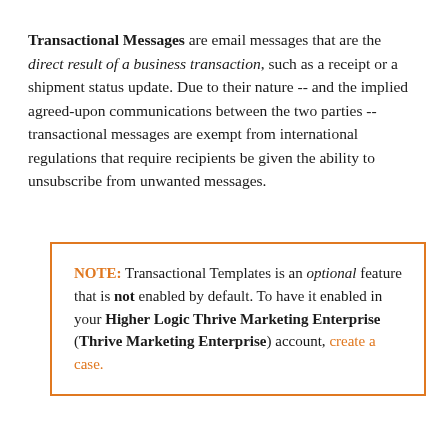Transactional Messages are email messages that are the direct result of a business transaction, such as a receipt or a shipment status update. Due to their nature -- and the implied agreed-upon communications between the two parties -- transactional messages are exempt from international regulations that require recipients be given the ability to unsubscribe from unwanted messages.
NOTE: Transactional Templates is an optional feature that is not enabled by default. To have it enabled in your Higher Logic Thrive Marketing Enterprise (Thrive Marketing Enterprise) account, create a case.